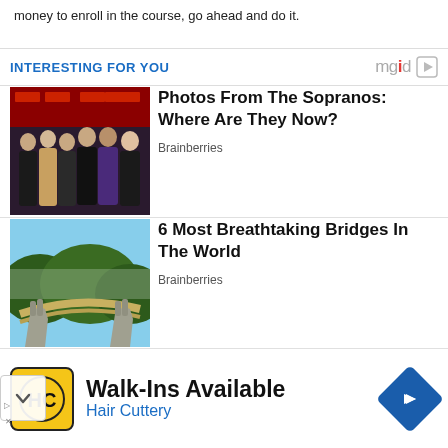money to enroll in the course, go ahead and do it.
INTERESTING FOR YOU
[Figure (photo): Group photo of women from The Sopranos cast at an event with HBO logos in background]
Photos From The Sopranos: Where Are They Now?
Brainberries
[Figure (photo): Aerial photo of the Golden Bridge in Vietnam held up by giant stone hands surrounded by green mountains]
6 Most Breathtaking Bridges In The World
Brainberries
[Figure (photo): Green screen video production scene with a figure in a costume]
He Can Show You The World All Right, But It's
[Figure (infographic): Advertisement for Hair Cuttery with HC logo and navigation arrow icon. Text: Walk-Ins Available, Hair Cuttery]